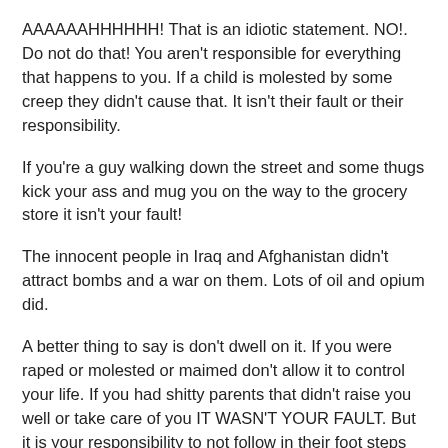AAAAAAHHHHHH! That is an idiotic statement. NO!. Do not do that! You aren't responsible for everything that happens to you. If a child is molested by some creep they didn't cause that. It isn't their fault or their responsibility.
If you're a guy walking down the street and some thugs kick your ass and mug you on the way to the grocery store it isn't your fault!
The innocent people in Iraq and Afghanistan didn't attract bombs and a war on them. Lots of oil and opium did.
A better thing to say is don't dwell on it. If you were raped or molested or maimed don't allow it to control your life. If you had shitty parents that didn't raise you well or take care of you IT WASN'T YOUR FAULT. But it is your responsibility to not follow in their foot steps and continue the cycle I'm not saying